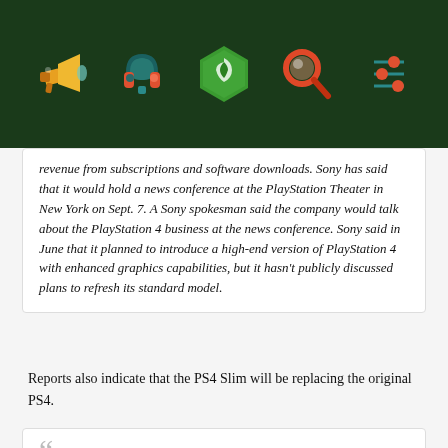[Figure (illustration): Dark green header bar with five colorful isometric icons: a yellow megaphone/speaker, a teal headset with orange accents, a green hexagonal Houdini-style logo, an orange/red magnifying glass, and a teal/orange abstract sliders icon.]
revenue from subscriptions and software downloads. Sony has said that it would hold a news conference at the PlayStation Theater in New York on Sept. 7. A Sony spokesman said the company would talk about the PlayStation 4 business at the news conference. Sony said in June that it planned to introduce a high-end version of PlayStation 4 with enhanced graphics capabilities, but it hasn't publicly discussed plans to refresh its standard model.
Reports also indicate that the PS4 Slim will be replacing the original PS4.
Ahead of the September news conference, Sony has cut production of PlayStation 4 to adjust inventory, people familiar with the matter said. Several major